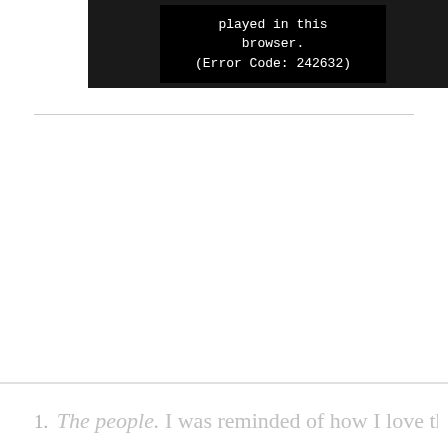[Figure (screenshot): Video player showing an error message on a dark background. The error text reads: 'played in this browser. (Error Code: 242632)']
1. The people. I was reminded of how I love these